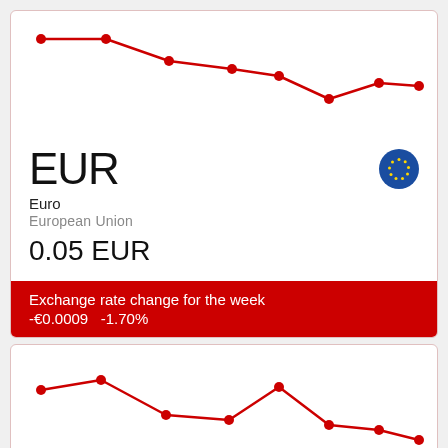[Figure (line-chart): EUR weekly exchange rate]
EUR
Euro
European Union
0.05 EUR
Exchange rate change for the week -€0.0009   -1.70%
[Figure (line-chart): BTC weekly exchange rate]
BTC
Bitcoin